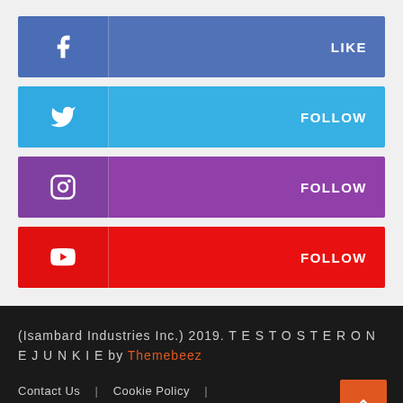[Figure (infographic): Social media follow/like buttons for Facebook (LIKE), Twitter (FOLLOW), Instagram (FOLLOW), YouTube (FOLLOW)]
(Isambard Industries Inc.) 2019. T E S T O S T E R O N E J U N K I E by Themebeez

Contact Us | Cookie Policy | Privacy Policy & Terms of Use